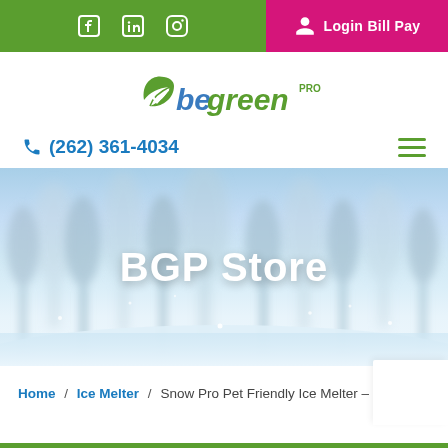Social media icons (Facebook, LinkedIn, Instagram) | Login Bill Pay
[Figure (logo): Be Green Pro logo with green leaf and stylized text]
(262) 361-4034
[Figure (photo): Winter snowy landscape with trees and BGP Store title overlay]
BGP Store
Home / Ice Melter / Snow Pro Pet Friendly Ice Melter – 8lb